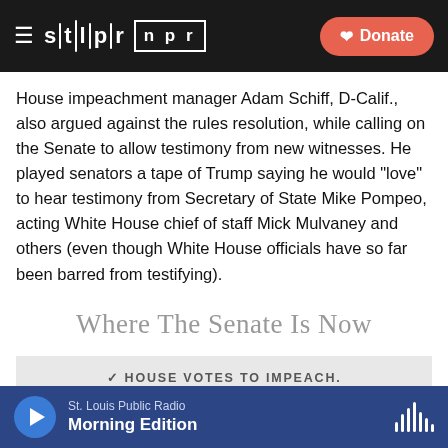STLPR NPR — Donate
House impeachment manager Adam Schiff, D-Calif., also argued against the rules resolution, while calling on the Senate to allow testimony from new witnesses. He played senators a tape of Trump saying he would "love" to hear testimony from Secretary of State Mike Pompeo, acting White House chief of staff Mick Mulvaney and others (even though White House officials have so far been barred from testifying).
Where The Senate Is Now
✓ HOUSE VOTES TO IMPEACH.
St. Louis Public Radio — Morning Edition